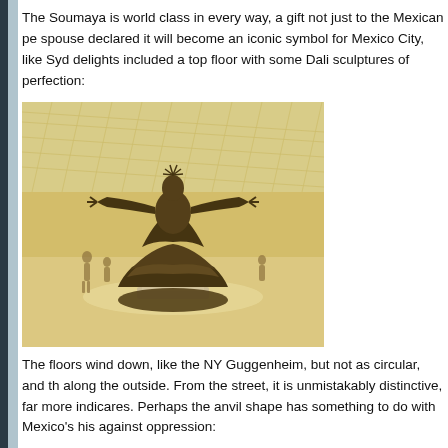The Soumaya is world class in every way, a gift not just to the Mexican pe spouse declared it will become an iconic symbol for Mexico City, like Syd delights included a top floor with some Dali sculptures of perfection:
[Figure (photo): A bronze Dali sculpture of a female figure with arms outstretched, wearing a flowing layered dress, displayed in a large museum gallery with visitors in the background.]
The floors wind down, like the NY Guggenheim, but not as circular, and th along the outside. From the street, it is unmistakably distinctive, far more indicares. Perhaps the anvil shape has something to do with Mexico's his against oppression: